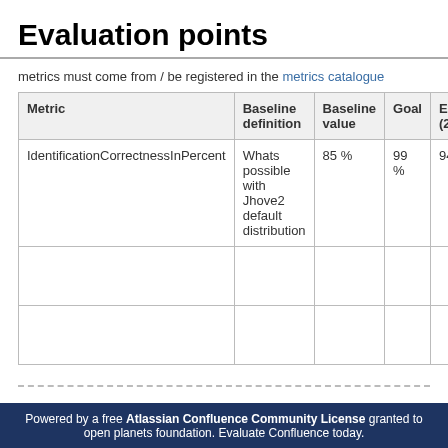Evaluation points
metrics must come from / be registered in the metrics catalogue
| Metric | Baseline definition | Baseline value | Goal | Eval 1 (20/0...) |
| --- | --- | --- | --- | --- |
| IdentificationCorrectnessInPercent | Whats possible with Jhove2 default distribution | 85 % | 99 % | 94 % |
|  |  |  |  |  |
|  |  |  |  |  |
Labels: None
Powered by a free Atlassian Confluence Community License granted to open planets foundation. Evaluate Confluence today.